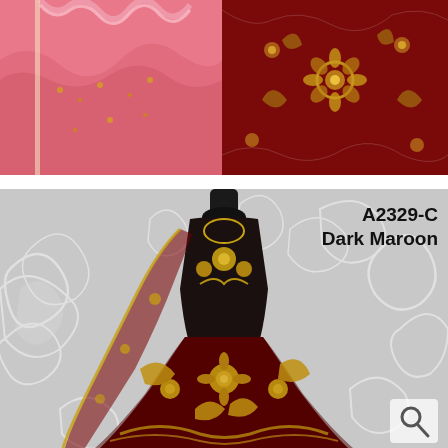[Figure (photo): Top-left close-up photo of pink/rose embroidered fabric with gold thread embroidery and ruffled edge detail]
[Figure (photo): Top-right close-up photo of dark maroon/red velvet fabric with dense gold floral embroidery]
[Figure (photo): Main product photo of a dark maroon lehenga choli displayed on a mannequin, heavily embroidered with gold floral designs, shown with a dupatta, against a grey floral background. Labeled A2329-C Dark Maroon.]
A2329-C
Dark Maroon